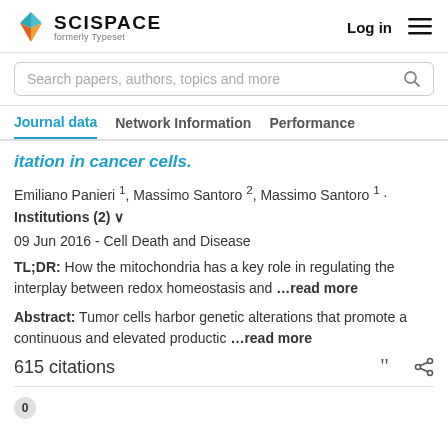[Figure (logo): SciSpace logo with colored diamond icon and text 'SCISPACE formerly Typeset']
Log in  ≡
Search papers, authors, topics and more
Journal data   Network Information   Performance
…itation in cancer cells.
Emiliano Panieri ¹, Massimo Santoro ², Massimo Santoro ¹ ·
Institutions (2) ∨
09 Jun 2016 - Cell Death and Disease
TL;DR: How the mitochondria has a key role in regulating the interplay between redox homeostasis and …read more
Abstract: Tumor cells harbor genetic alterations that promote a continuous and elevated productic …read more
615 citations